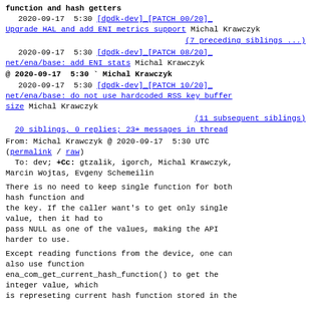function and hash getters
2020-09-17  5:30  [dpdk-dev]_[PATCH 00/20]_Upgrade HAL and add ENI metrics support  Michal Krawczyk
(7 preceding siblings ...)
2020-09-17  5:30  [dpdk-dev]_[PATCH 08/20]_net/ena/base: add ENI stats  Michal Krawczyk
@ 2020-09-17  5:30  Michal Krawczyk
2020-09-17  5:30  [dpdk-dev]_[PATCH 10/20]_net/ena/base: do not use hardcoded RSS key buffer size  Michal Krawczyk
(11 subsequent siblings)
20 siblings, 0 replies; 23+ messages in thread
From: Michal Krawczyk @ 2020-09-17  5:30 UTC
(permalink / raw)
To: dev; +Cc: gtzalik, igorch, Michal Krawczyk, Marcin Wojtas, Evgeny Schemeilin
There is no need to keep single function for both hash function and
the key. If the caller want's to get only single value, then it had to
pass NULL as one of the values, making the API harder to use.
Except reading functions from the device, one can also use function
ena_com_get_current_hash_function() to get the integer value, which
is represeting current hash function stored in the